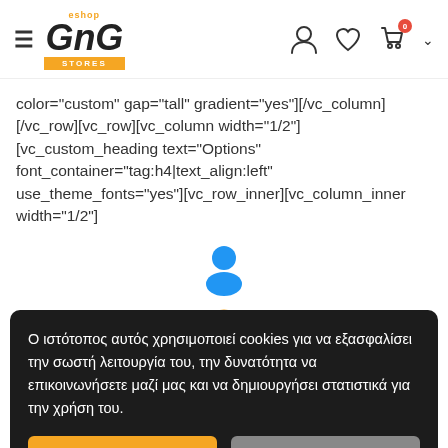[Figure (logo): GnG Stores eshop logo with hamburger menu icon on the left and user/heart/cart icons on the right]
color="custom" gap="tall" gradient="yes"][/vc_column][/vc_row][vc_row][vc_column width="1/2"][vc_custom_heading text="Options" font_container="tag:h4|text_align:left" use_theme_fonts="yes"][vc_row_inner][vc_column_inner width="1/2"]
[Figure (illustration): Blue user/person icon centered on page]
[/vc_
Ο ιστότοπος αυτός χρησιμοποιεί cookies για να εξασφαλίσει την σωστή λειτουργία του, την δυνατότητα να επικοινωνήσετε μαζί μας και να δημιουργήσει στατιστικά για την χρήση του.
Αποδοχή
Απόρριψη